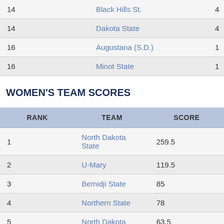| 14 | Black Hills St. | 4 |
| 14 | Dakota State | 4 |
| 16 | Augustana (S.D.) | 1 |
| 16 | Minot State | 1 |
WOMEN'S TEAM SCORES
| RANK | TEAM | SCORE |
| --- | --- | --- |
| 1 | North Dakota State | 259.5 |
| 2 | U-Mary | 119.5 |
| 3 | Bemidji State | 85 |
| 4 | Northern State | 78 |
| 5 | North Dakota | 63.5 |
| 6 | MSU-Moorhead | 37 |
| 7 | Black Hills St. | 28 |